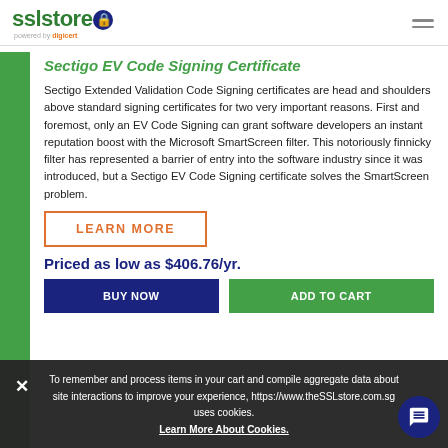sslstore (powered by digicert)
Sectigo EV Code Signing Certificate
Sectigo Extended Validation Code Signing certificates are head and shoulders above standard signing certificates for two very important reasons. First and foremost, only an EV Code Signing can grant software developers an instant reputation boost with the Microsoft SmartScreen filter. This notoriously finnicky filter has represented a barrier of entry into the software industry since it was introduced, but a Sectigo EV Code Signing certificate solves the SmartScreen problem.
LEARN MORE
Priced as low as $406.76/yr.
To remember and process items in your cart and compile aggregate data about site interactions to improve your experience, https://www.theSSLstore.com.sg uses cookies. Learn More About Cookies.